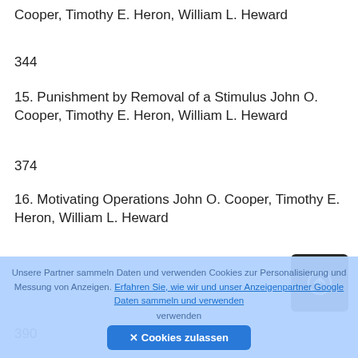Cooper, Timothy E. Heron, William L. Heward
344
15. Punishment by Removal of a Stimulus John O. Cooper, Timothy E. Heron, William L. Heward
374
16. Motivating Operations John O. Cooper, Timothy E. Heron, William L. Heward
390
17. (partially visible entry)